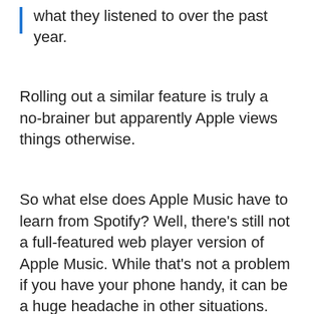what they listened to over the past year.
Rolling out a similar feature is truly a no-brainer but apparently Apple views things otherwise.
So what else does Apple Music have to learn from Spotify? Well, there’s still not a full-featured web player version of Apple Music. While that’s not a problem if you have your phone handy, it can be a huge headache in other situations. And let’s be honest, who wants to access Apple Music through iTunes these days?
As a result, and similar to Viticci’s work, some